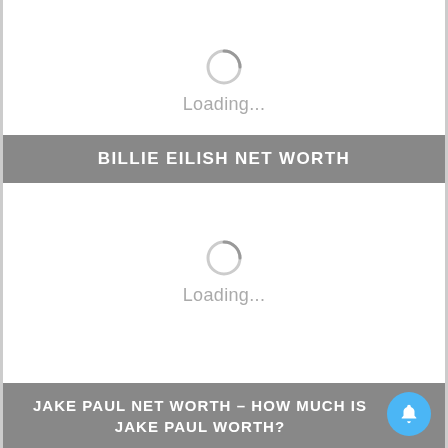[Figure (other): Loading spinner with 'Loading...' text for a content area]
BILLIE EILISH NET WORTH
[Figure (other): Loading spinner with 'Loading...' text for a second content area]
JAKE PAUL NET WORTH – HOW MUCH IS JAKE PAUL WORTH?